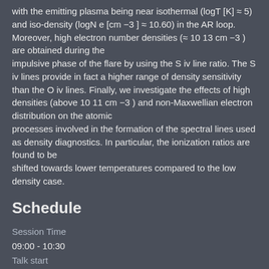with the emitting plasma being near isothermal (logT [K] ≈ 5) and iso-density (logN e [cm −3 ] ≈ 10.60) in the AR loop. Moreover, high electron number densities (≈ 10 13 cm −3 ) are obtained during the impulsive phase of the flare by using the S iv line ratio. The S iv lines provide in fact a higher range of density sensitivity than the O iv lines. Finally, we investigate the effects of high densities (above 10 11 cm −3 ) and non-Maxwellian electron distribution on the atomic processes involved in the formation of the spectral lines used as density diagnostics. In particular, the ionization ratios are found to be shifted towards lower temperatures compared to the low density case.
Schedule
Session Time
09:00 - 10:30
Talk start
09:00
Day